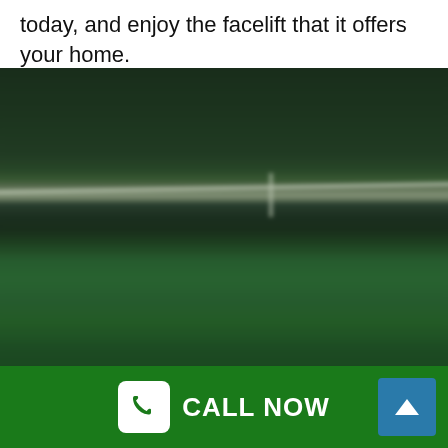today, and enjoy the facelift that it offers your home.
[Figure (photo): Blurry outdoor photo showing a green lawn with a white horizontal fence rail running across the middle, and dark trees in the background.]
CALL NOW